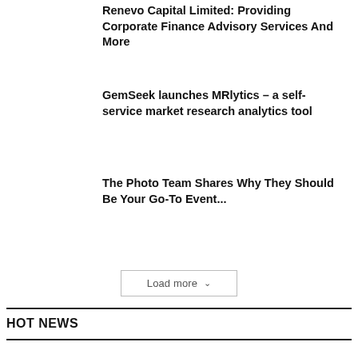Renevo Capital Limited: Providing Corporate Finance Advisory Services And More
GemSeek launches MRlytics – a self-service market research analytics tool
The Photo Team Shares Why They Should Be Your Go-To Event...
Load more
HOT NEWS